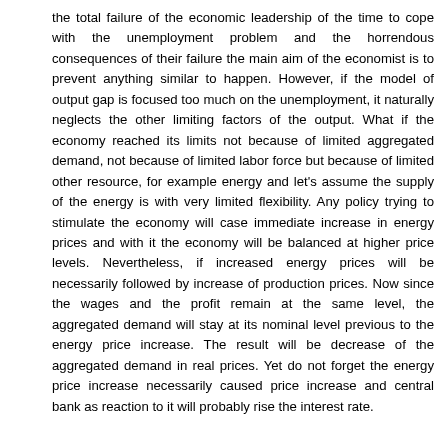the total failure of the economic leadership of the time to cope with the unemployment problem and the horrendous consequences of their failure the main aim of the economist is to prevent anything similar to happen. However, if the model of output gap is focused too much on the unemployment, it naturally neglects the other limiting factors of the output. What if the economy reached its limits not because of limited aggregated demand, not because of limited labor force but because of limited other resource, for example energy and let’s assume the supply of the energy is with very limited flexibility. Any policy trying to stimulate the economy will case immediate increase in energy prices and with it the economy will be balanced at higher price levels. Nevertheless, if increased energy prices will be necessarily followed by increase of production prices. Now since the wages and the profit remain at the same level, the aggregated demand will stay at its nominal level previous to the energy price increase. The result will be decrease of the aggregated demand in real prices. Yet do not forget the energy price increase necessarily caused price increase and central bank as reaction to it will probably rise the interest rate.